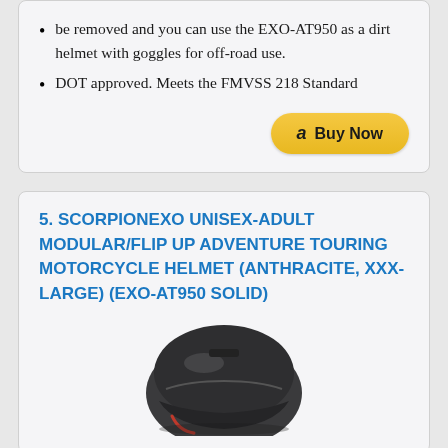be removed and you can use the EXO-AT950 as a dirt helmet with goggles for off-road use.
DOT approved. Meets the FMVSS 218 Standard
[Figure (other): Amazon Buy Now button]
5. SCORPIONEXO UNISEX-ADULT MODULAR/FLIP UP ADVENTURE TOURING MOTORCYCLE HELMET (ANTHRACITE, XXX-LARGE) (EXO-AT950 SOLID)
[Figure (photo): Photo of a dark anthracite motorcycle helmet (EXO-AT950 SOLID)]